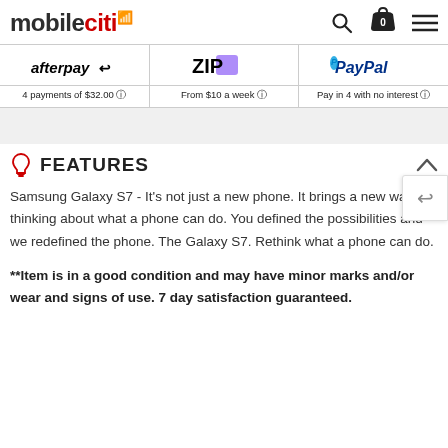mobileciti
[Figure (logo): Afterpay logo with stylized text and arrow icon]
4 payments of $32.00
[Figure (logo): Zip logo in black and purple]
From $10 a week
[Figure (logo): PayPal logo in blue italic text]
Pay in 4 with no interest
FEATURES
Samsung Galaxy S7 - It's not just a new phone. It brings a new way of thinking about what a phone can do. You defined the possibilities and we redefined the phone. The Galaxy S7. Rethink what a phone can do.
**Item is in a good condition and may have minor marks and/or wear and signs of use. 7 day satisfaction guaranteed.